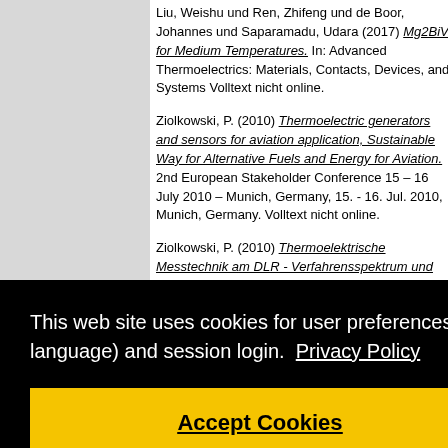Liu, Weishu und Ren, Zhifeng und de Boor, Johannes und Saparamadu, Udara (2017) Mg2BiV for Medium Temperatures. In: Advanced Thermoelectrics: Materials, Contacts, Devices, and Systems Volltext nicht online.
Ziolkowski, P. (2010) Thermoelectric generators and sensors for aviation application, Sustainable Way for Alternative Fuels and Energy for Aviation. 2nd European Stakeholder Conference 15 – 16 July 2010 – Munich, Germany, 15. - 16. Jul. 2010, Munich, Germany. Volltext nicht online.
Ziolkowski, P. (2010) Thermoelektrische Messtechnik am DLR - Verfahrensspektrum und Entwicklungsziele. Disskusionsforum Messtechnik, Wissenschaftliche Vorprojekte Thermoelektrik (WING), Freiburg, Deutschland, 14.07.2010, Freiburg, Deutschland.
This web site uses cookies for user preferences (like language) and session login. Privacy Policy
Accept Cookies
nerators for opment. NPI ijk,
ext nicht
Mikrosonde: Aspekte zur Genauigkeit und